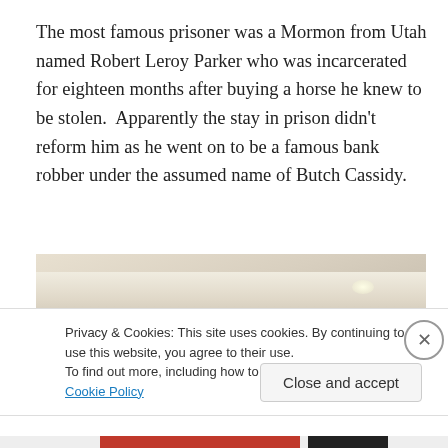The most famous prisoner was a Mormon from Utah named Robert Leroy Parker who was incarcerated for eighteen months after buying a horse he knew to be stolen.  Apparently the stay in prison didn't reform him as he went on to be a famous bank robber under the assumed name of Butch Cassidy.
[Figure (photo): A photograph showing what appears to be the corner of a white or cream-colored shelf or ledge, with a small bright light reflection visible in the upper right area.]
Privacy & Cookies: This site uses cookies. By continuing to use this website, you agree to their use.
To find out more, including how to control cookies, see here: Cookie Policy
Close and accept